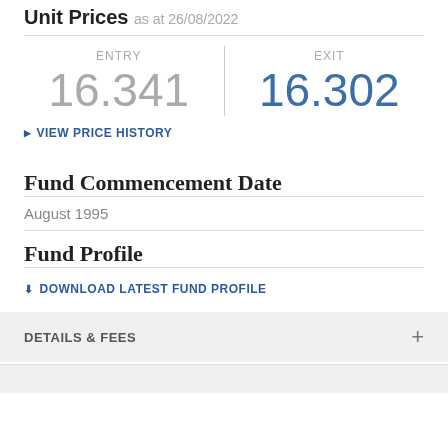Unit Prices as at 26/08/2022
| ENTRY | EXIT |
| --- | --- |
| 16.341 | 16.302 |
> VIEW PRICE HISTORY
Fund Commencement Date
August 1995
Fund Profile
⬇ DOWNLOAD LATEST FUND PROFILE
DETAILS & FEES